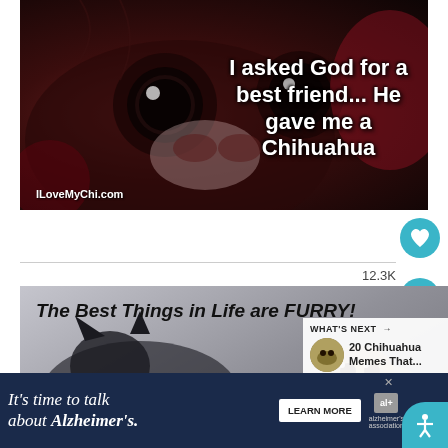[Figure (photo): Close-up photo of a Chihuahua dog's face with large dark eyes, on a dark reddish background. Text overlay reads: 'I asked God for a best friend... He gave me a Chihuahua'. Credit: ILoveMyChi.com]
[Figure (screenshot): Heart/like button — teal circular button with heart icon]
12.3K
[Figure (screenshot): Share button — teal circular button with share icon]
[Figure (photo): Second image showing 'The Best Things in Life are FURRY!' in bold italic black text, with a cat and chihuahua visible, gray background. Overlay panel shows 'WHAT'S NEXT → 20 Chihuahua Memes That...' with thumbnail.]
It's time to talk about Alzheimer's.
LEARN MORE